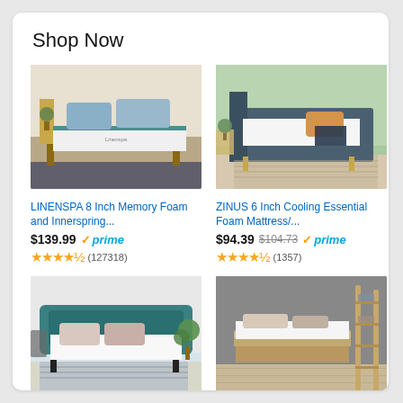Shop Now
[Figure (photo): LINENSPA mattress on wooden bed frame with blue pillows]
LINENSPA 8 Inch Memory Foam and Innerspring...
$139.99 ✓prime (127318 reviews, 4.5 stars)
[Figure (photo): ZINUS mattress on dark upholstered bed frame with navy blanket]
ZINUS 6 Inch Cooling Essential Foam Mattress/...
$94.39 $104.73 ✓prime (1357 reviews, 4.5 stars)
[Figure (photo): Mattress on teal upholstered bed frame with plants in background]
[Figure (photo): Mattress on wooden bed frame with ladder shelf in gray room]